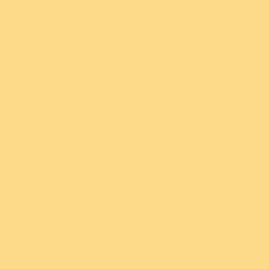seek the hurt neither of you nor your friends. 16 And they gave credence: and he laid hands on threescore men of them, and killed them in one day, according to the word which the psalmist wrote. 17 § The flesh of your saints did they cast out, And their blood did they shed round about Jerusalem; And there was no man to bury them. 18 And the fear and the dread of them fell upon all the people, for they said, There is neither truth nor judgement in them; for they have broken the covenant and the oath which they sware. 19 And Bacchides removed from Jerusalem, and encamped in Bezeth; and he sent and took many of the deserters that were with him, and certain of the people; and he killed them, and cast them into the great pit. 20 And he m